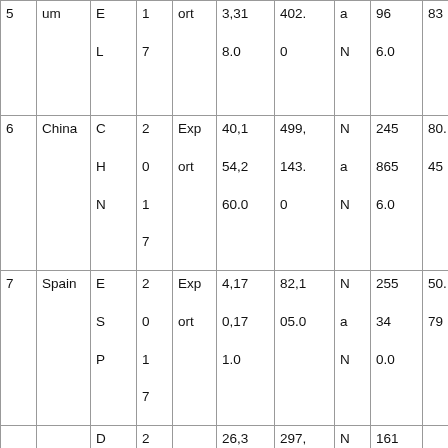| 5 | um | E
L | 1
7 | ort | 3,31
8.0 | 402.
0 | a
N | 96
6.0 | 83 |
| 6 | China | C
H
N | 2
0
1
7 | Exp
ort | 40,1
54,2
60.0 | 499,
143.
0 | N
a
N | 245
865
6.0 | 80.
45 |
| 7 | Spain | E
S
P | 2
0
1
7 | Exp
ort | 4,17
0,17
1.0 | 82,1
05.0 | N
a
N | 255
34
0.0 | 50.
79 |
|  |  | D | 2 |  | 26,3 | 297, | N | 161 |  |